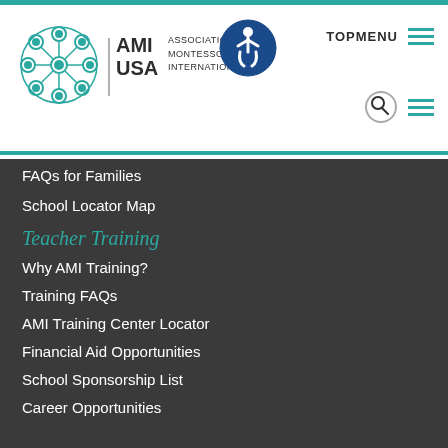[Figure (logo): AMI USA Association Montessori International logo with teal circular pattern and accessibility icon]
TOPMENU
FAQs for Families
School Locator Map
Teacher Training
Why AMI Training?
Training FAQs
AMI Training Center Locator
Financial Aid Opportunities
School Sponsorship List
Career Opportunities
Professional Development
The Montessori Experience: Refresher Courses & More
Regional Workshops